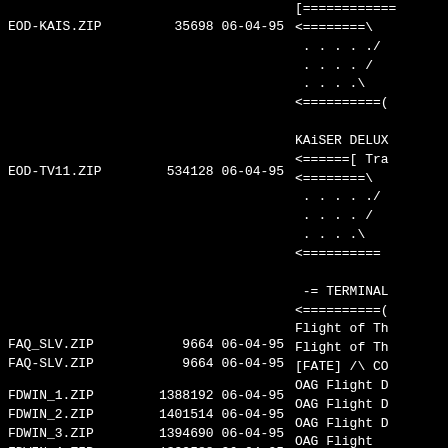| Filename | Size | Date | Description |
| --- | --- | --- | --- |
| EOD-KAIS.ZIP | 35698 | 06-04-95 | <========\  . . . . . ./  . . . . /  . . . . \  <========== KAiSER DELUX <======[ Tra |
| EOD-TV11.ZIP | 534128 | 06-04-95 | <========\  . . . . . ./  . . . . /  . . . . \  <========== |
|  |  |  | -= TERMINAL  <========== |
| FAQ_SLV.ZIP | 9664 | 06-04-95 | Flight of Th |
| FAQ-SLV.ZIP | 9664 | 06-04-95 | Flight of Th [FATE] /\ CO |
| FDWIN_1.ZIP | 1388192 | 06-04-95 | OAG Flight D |
| FDWIN_2.ZIP | 1401514 | 06-04-95 | OAG Flight D |
| FDWIN_3.ZIP | 1394690 | 06-04-95 | OAG Flight D |
| FDWIN_4.ZIP | 1399588 | 06-04-95 | OAG Flight |